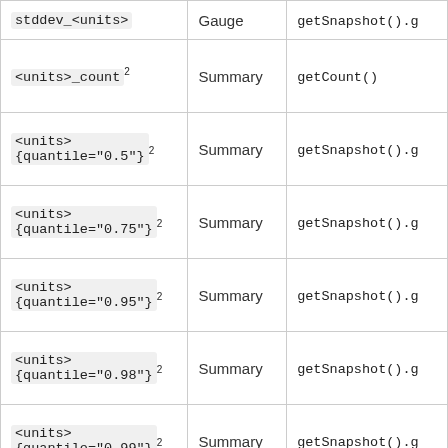| Metric name | Type | Method |
| --- | --- | --- |
| stddev_<units> | Gauge | getSnapshot().g |
| <units>_count² | Summary | getCount() |
| <units>{quantile="0.5"}² | Summary | getSnapshot().g |
| <units>{quantile="0.75"}² | Summary | getSnapshot().g |
| <units>{quantile="0.95"}² | Summary | getSnapshot().g |
| <units>{quantile="0.98"}² | Summary | getSnapshot().g |
| <units>{quantile="0.99"}² | Summary | getSnapshot().g |
| <units>... | Summary | getSnapshot()... |